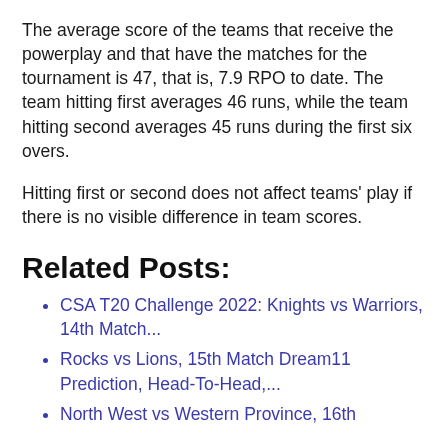The average score of the teams that receive the powerplay and that have the matches for the tournament is 47, that is, 7.9 RPO to date. The team hitting first averages 46 runs, while the team hitting second averages 45 runs during the first six overs.
Hitting first or second does not affect teams' play if there is no visible difference in team scores.
Related Posts:
CSA T20 Challenge 2022: Knights vs Warriors, 14th Match...
Rocks vs Lions, 15th Match Dream11 Prediction, Head-To-Head,...
North West vs Western Province, 16th...